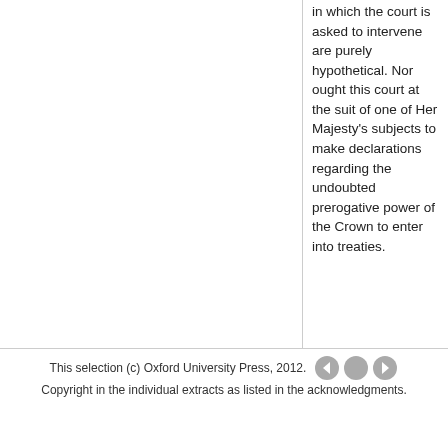in which the court is asked to intervene are purely hypothetical. Nor ought this court at the suit of one of Her Majesty's subjects to make declarations regarding the undoubted prerogative power of the Crown to enter into treaties.
This selection (c) Oxford University Press, 2012. Copyright in the individual extracts as listed in the acknowledgments.